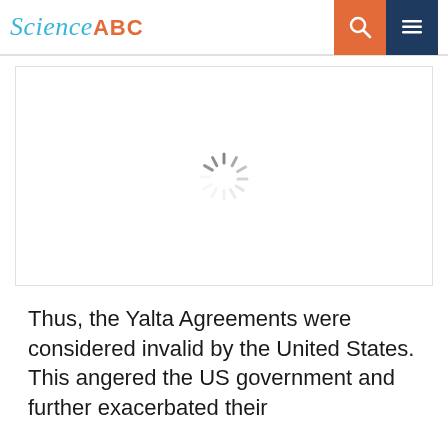Science ABC
[Figure (screenshot): Loading spinner (circular spinner icon) on a white background inside a bordered content area]
Thus, the Yalta Agreements were considered invalid by the United States. This angered the US government and further exacerbated their